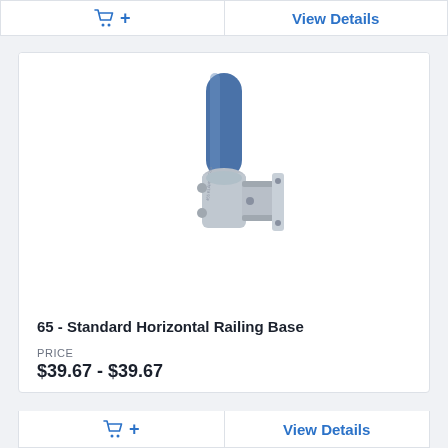[Figure (other): Shopping cart icon with plus sign button]
View Details
[Figure (photo): 65 - Standard Horizontal Railing Base product photo: a metal pipe clamp/railing base fitting with a blue vertical pipe inserted, showing a galvanized steel bracket with wall-mount plate]
65 - Standard Horizontal Railing Base
PRICE
$39.67 - $39.67
[Figure (other): Shopping cart icon with plus sign button]
View Details